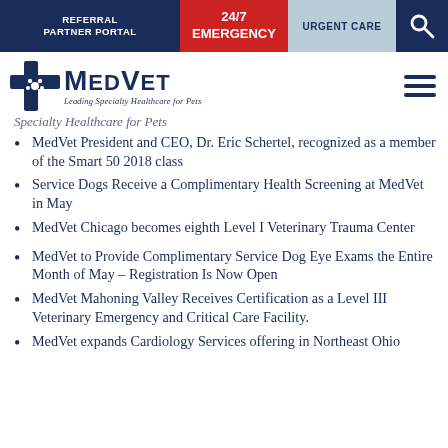REFERRAL PARTNER PORTAL | 24/7 EMERGENCY | URGENT CARE
[Figure (logo): MedVet logo with cross icon and tagline 'Leading Specialty Healthcare for Pets']
Specialty Healthcare for Pets
MedVet President and CEO, Dr. Eric Schertel, recognized as a member of the Smart 50 2018 class
Service Dogs Receive a Complimentary Health Screening at MedVet in May
MedVet Chicago becomes eighth Level I Veterinary Trauma Center
MedVet to Provide Complimentary Service Dog Eye Exams the Entire Month of May – Registration Is Now Open
MedVet Mahoning Valley Receives Certification as a Level III Veterinary Emergency and Critical Care Facility.
MedVet expands Cardiology Services offering in Northeast Ohio